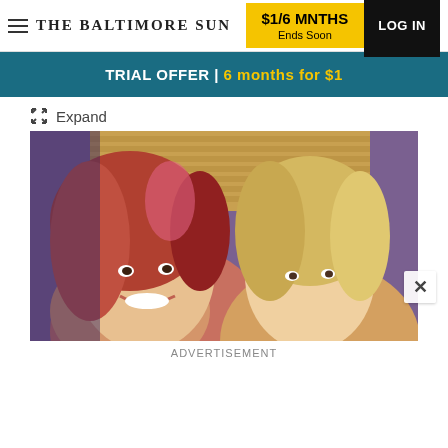THE BALTIMORE SUN | $1/6 MNTHS Ends Soon | LOG IN
TRIAL OFFER | 6 months for $1
✕ Expand
[Figure (photo): Two women posing together for a selfie-style photo in what appears to be a restaurant with wooden blinds in the background. The woman on the left has reddish-brown hair and is smiling; the woman on the right has blonde hair.]
ADVERTISEMENT